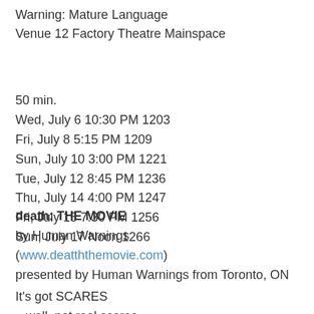Warning: Mature Language
Venue 12 Factory Theatre Mainspace
50 min.
Wed, July 6 10:30 PM 1203
Fri, July 8 5:15 PM 1209
Sun, July 10 3:00 PM 1221
Tue, July 12 8:45 PM 1236
Thu, July 14 4:00 PM 1247
Fri, July 15 7:30 PM 1256
Sun, July 17 Noon 1266
death: THE MOVIE
by Human Warnings
(www.deatththemovie.com)
presented by Human Warnings from Toronto, ON
It's got SCARES
...well, not real scares.
It's got SADNESS